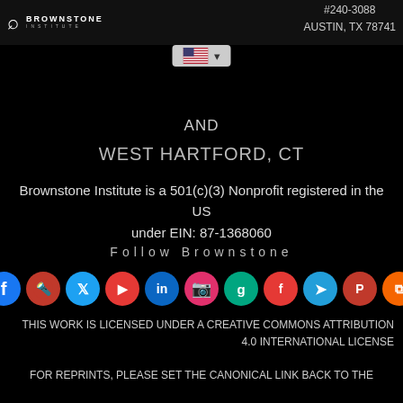#240-3088 AUSTIN, TX 78741
[Figure (logo): Brownstone Institute logo with search icon and US flag dropdown]
AND
WEST HARTFORD, CT
Brownstone Institute is a 501(c)(3) Nonprofit registered in the US under EIN: 87-1368060
Follow Brownstone
[Figure (infographic): Row of social media icons: Facebook, Torch, Twitter, YouTube, LinkedIn, Instagram, Goodreads, Flipboard, Telegram, Parler, RSS]
THIS WORK IS LICENSED UNDER A CREATIVE COMMONS ATTRIBUTION 4.0 INTERNATIONAL LICENSE
FOR REPRINTS, PLEASE SET THE CANONICAL LINK BACK TO THE